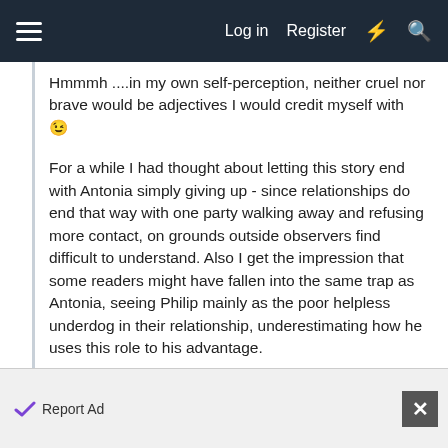Log in  Register
Hmmmh ....in my own self-perception, neither cruel nor brave would be adjectives I would credit myself with 😉
For a while I had thought about letting this story end with Antonia simply giving up - since relationships do end that way with one party walking away and refusing more contact, on grounds outside observers find difficult to understand. Also I get the impression that some readers might have fallen into the same trap as Antonia, seeing Philip mainly as the poor helpless underdog in their relationship, underestimating how he uses this role to his advantage.
I confess, though I've had a different ending written for quite a while which I now only revised - let's see if this one
Report Ad